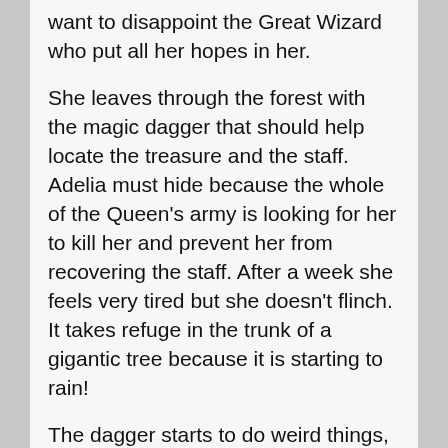want to disappoint the Great Wizard who put all her hopes in her.
She leaves through the forest with the magic dagger that should help locate the treasure and the staff. Adelia must hide because the whole of the Queen's army is looking for her to kill her and prevent her from recovering the staff. After a week she feels very tired but she doesn't flinch. It takes refuge in the trunk of a gigantic tree because it is starting to rain!
The dagger starts to do weird things, it moves on its own. Adelia lets her go where she wants and suddenly what does she see? A staff identical to the dagger (symbols of Adelia The Fortune Wielder™)! But not only that, the treasure is here! Now it was a different story. She had to go home to the great